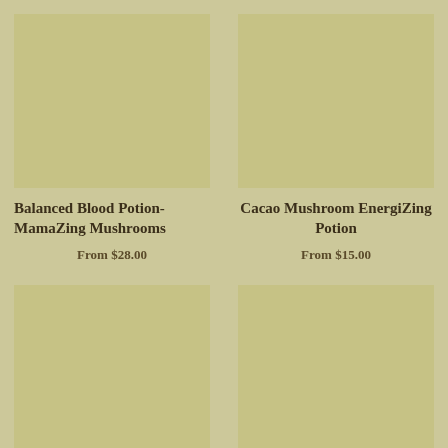[Figure (photo): Product image placeholder top left - tan/olive colored rectangle]
[Figure (photo): Product image placeholder top right - tan/olive colored rectangle]
Balanced Blood Potion- MamaZing Mushrooms
From $28.00
Cacao Mushroom EnergiZing Potion
From $15.00
[Figure (photo): Product image placeholder bottom left - tan/olive colored rectangle]
[Figure (photo): Product image placeholder bottom right - tan/olive colored rectangle]